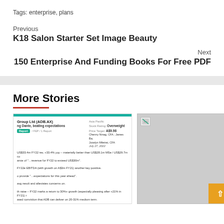Tags: enterprise, plans
Previous
K18 Salon Starter Set Image Beauty
Next
150 Enterprise And Funding Books For Free PDF
More Stories
[Figure (screenshot): Financial report card for Group Ltd (ADB.AX) - Morgan Stanley, showing stock rating Overweight, Price Target A$9.98, dated July 27, 2022. Text mentions FY22 results beating expectations including revenue and EBITDA figures.]
[Figure (photo): Gray placeholder image with broken image icon in top left corner]